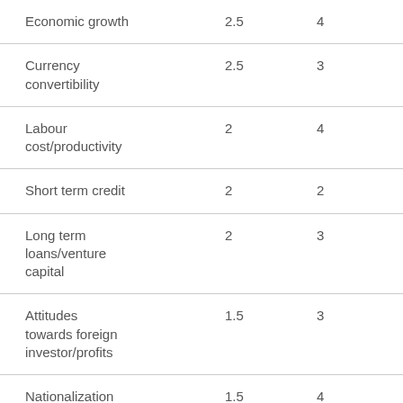| Economic growth | 2.5 | 4 | 10 |
| Currency convertibility | 2.5 | 3 | 7.5 |
| Labour cost/productivity | 2 | 4 | 8 |
| Short term credit | 2 | 2 | 4 |
| Long term loans/venture capital | 2 | 3 | 6 |
| Attitudes towards foreign investor/profits | 1.5 | 3 | 4.5 |
| Nationalization | 1.5 | 4 | 6 |